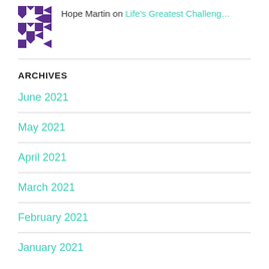[Figure (logo): Purple geometric quilt-pattern avatar icon]
Hope Martin on Life's Greatest Challeng…
ARCHIVES
June 2021
May 2021
April 2021
March 2021
February 2021
January 2021